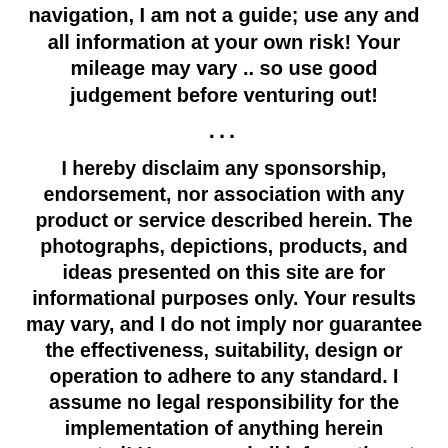The maps and images on this site are not intended for navigation, I am not a guide; use any and all information at your own risk! Your mileage may vary .. so use good judgement before venturing out!
...
I hereby disclaim any sponsorship, endorsement, nor association with any product or service described herein. The photographs, depictions, products, and ideas presented on this site are for informational purposes only. Your results may vary, and I do not imply nor guarantee the effectiveness, suitability, design or operation to adhere to any standard. I assume no legal responsibility for the implementation of anything herein presented! Use any and all information at your own risk! By using any and all information from this website, you accept the final